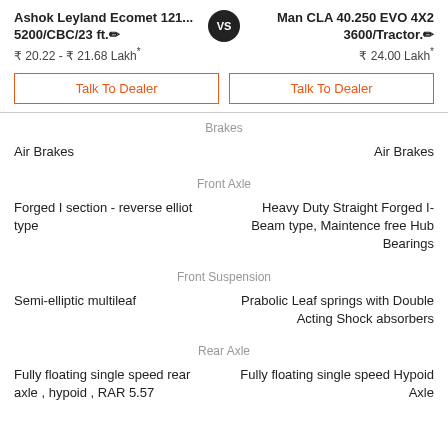Ashok Leyland Ecomet 121... 5200/CBC/23 ft. ₹ 20.22 - ₹ 21.68 Lakh*
Man CLA 40.250 EVO 4X2 3600/Tractor. ₹ 24.00 Lakh*
Talk To Dealer
Talk To Dealer
Brakes
Air Brakes
Air Brakes
Front Axle
Forged I section - reverse elliot type
Heavy Duty Straight Forged I-Beam type, Maintence free Hub Bearings
Front Suspension
Semi-elliptic multileaf
Prabolic Leaf springs with Double Acting Shock absorbers
Rear Axle
Fully floating single speed rear axle , hypoid , RAR 5.57
Fully floating single speed Hypoid Axle